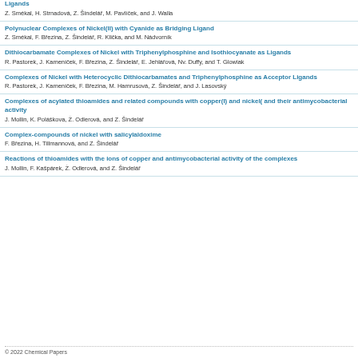Ligands
Z. Smékal, H. Strnadová, Z. Šindelář, M. Pavlíček, and J. Walla
Polynuclear Complexes of Nickel(II) with Cyanide as Bridging Ligand
Z. Smékal, F. Březina, Z. Šindelář, R. Klička, and M. Nádvorník
Dithiocarbamate Complexes of Nickel with Triphenylphosphine and Isothiocyanate as Ligands
R. Pastorek, J. Kameníček, F. Březina, Z. Šindelář, E. Jehlářová, Nv. Duffy, and T. Glowiak
Complexes of Nickel with Heterocyclic Dithiocarbamates and Triphenylphosphine as Acceptor Ligands
R. Pastorek, J. Kameníček, F. Březina, M. Hamrusová, Z. Šindelář, and J. Lasovský
Complexes of acylated thioamides and related compounds with copper(I) and nickel( and their antimycobacterial activity
J. Mollin, K. Poláškova, Ż. Odlerová, and Z. Šindelář
Complex-compounds of nickel with salicylaldoxime
F. Březina, H. Tillmannová, and Z. Šindelář
Reactions of thioamides with the ions of copper and antimycobacterial activity of the complexes
J. Mollin, F. Kašpárek, Ż. Odlerová, and Z. Šindelář
© 2022 Chemical Papers